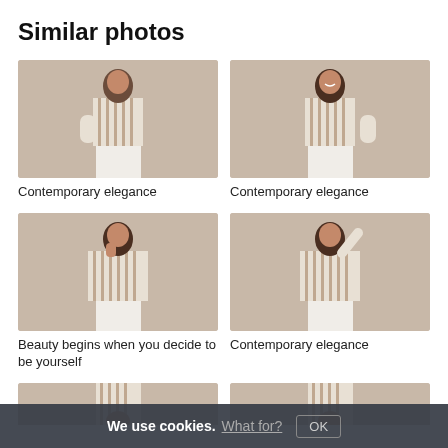Similar photos
[Figure (photo): Woman in striped blazer, looking to side, beige background]
[Figure (photo): Woman in striped blazer, smiling, beige background]
Contemporary elegance
Contemporary elegance
[Figure (photo): Woman in striped blazer, hand to face, beige background]
[Figure (photo): Woman in striped blazer, arm raised, beige background]
Beauty begins when you decide to be yourself
Contemporary elegance
[Figure (photo): Partial photo of woman, striped blazer, cropped at bottom]
[Figure (photo): Partial photo of woman, striped blazer, cropped at bottom]
We use cookies. What for? OK